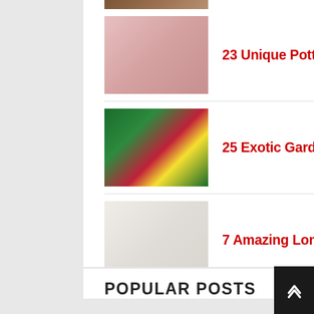[Figure (photo): Partial thumbnail at top of page - cropped]
23 Unique Pottery Barn Shower Curtain
25 Exotic Garden Flowers That Look So ...
7 Amazing Long Decorative Pillows
16 Simple Mudroom Entryway Ideas Photo
POPULAR POSTS